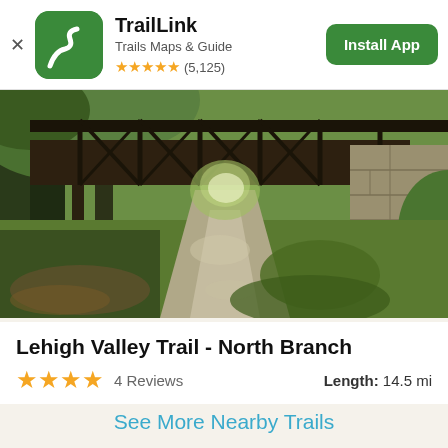TrailLink – Trails Maps & Guide ★★★★★ (5,125) Install App
[Figure (photo): Outdoor trail path passing under a steel truss bridge with stone abutments, surrounded by green trees and foliage]
Lehigh Valley Trail - North Branch
★★★★ 4 Reviews    Length: 14.5 mi
See More Nearby Trails